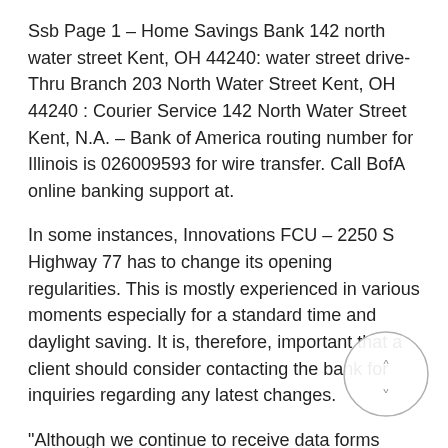Ssb Page 1 – Home Savings Bank 142 north water street Kent, OH 44240: water street drive-Thru Branch 203 North Water Street Kent, OH 44240 : Courier Service 142 North Water Street Kent, N.A. – Bank of America routing number for Illinois is 026009593 for wire transfer. Call BofA online banking support at.
In some instances, Innovations FCU – 2250 S Highway 77 has to change its opening regularities. This is mostly experienced in various moments especially for a standard time and daylight saving. It is, therefore, important that a client should consider contacting the bank for inquiries regarding any latest changes.
"Although we continue to receive data forms daily, we wanted to encourage those employers that have not submitted a data form to do so for the good of their